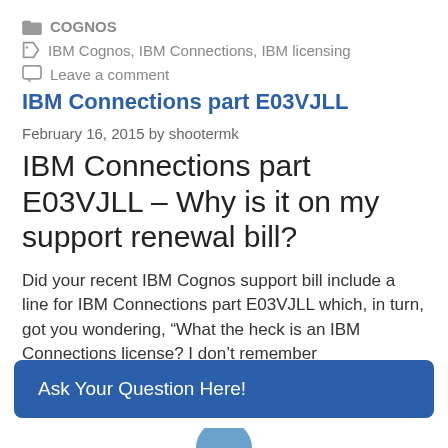COGNOS
IBM Cognos, IBM Connections, IBM licensing
Leave a comment
IBM Connections part E03VJLL
February 16, 2015 by shootermk
IBM Connections part E03VJLL – Why is it on my support renewal bill?
Did your recent IBM Cognos support bill include a line for IBM Connections part E03VJLL which, in turn, got you wondering, “What the heck is an IBM Connections license? I don’t remember
Ask Your Question Here!